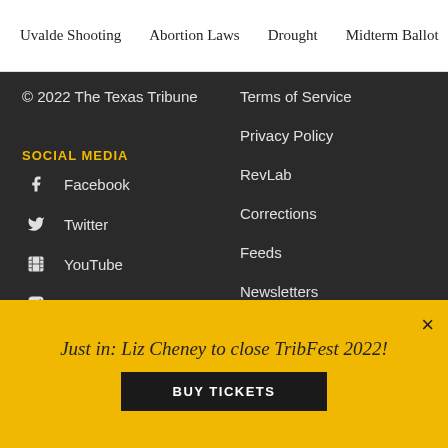Uvalde Shooting  Abortion Laws  Drought  Midterm Ballot
© 2022 The Texas Tribune
SOCIAL MEDIA
Facebook
Twitter
YouTube
Instagram
LinkedIn
Reddit
Terms of Service
Privacy Policy
RevLab
Corrections
Feeds
Newsletters
Audio
Video
Just in: Liz Cheney to close TribFest 2022!
BUY TICKETS